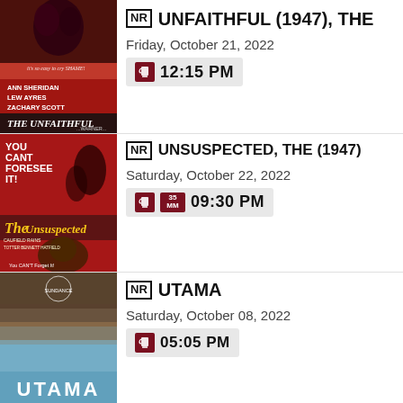[Figure (photo): Movie poster for The Unfaithful (1947) showing couple kissing, red background, Ann Sheridan Lew Ayres Zachary Scott]
NR UNFAITHFUL (1947), THE
Friday, October 21, 2022
12:15 PM
[Figure (photo): Movie poster for The Unsuspected (1947), red background, you can't foresee it, you can't forget it, Caulfield Paris]
NR UNSUSPECTED, THE (1947)
Saturday, October 22, 2022
35MM 09:30 PM
[Figure (photo): Movie poster for UTAMA, blue and brown tones, landscape]
NR UTAMA
Saturday, October 08, 2022
05:05 PM